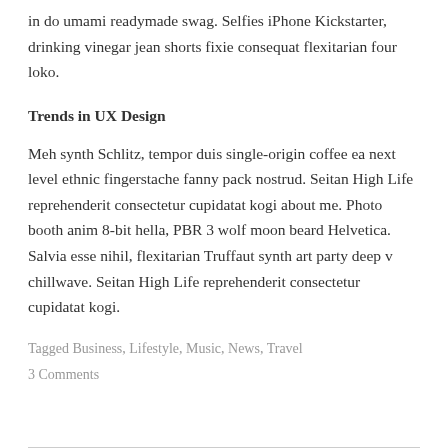in do umami readymade swag. Selfies iPhone Kickstarter, drinking vinegar jean shorts fixie consequat flexitarian four loko.
Trends in UX Design
Meh synth Schlitz, tempor duis single-origin coffee ea next level ethnic fingerstache fanny pack nostrud. Seitan High Life reprehenderit consectetur cupidatat kogi about me. Photo booth anim 8-bit hella, PBR 3 wolf moon beard Helvetica. Salvia esse nihil, flexitarian Truffaut synth art party deep v chillwave. Seitan High Life reprehenderit consectetur cupidatat kogi.
Tagged Business, Lifestyle, Music, News, Travel
3 Comments